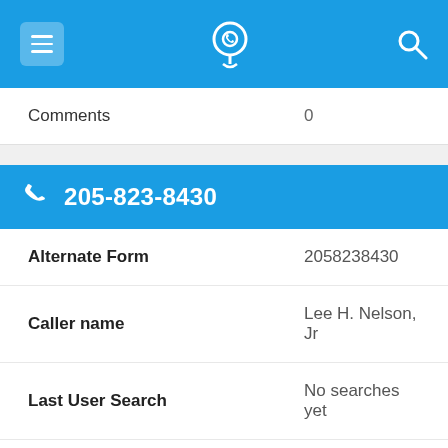App navigation bar with menu, phone lookup icon, and search
| Field | Value |
| --- | --- |
| Comments | 0 |
205-823-8430
| Field | Value |
| --- | --- |
| Alternate Form | 2058238430 |
| Caller name | Lee H. Nelson, Jr |
| Last User Search | No searches yet |
| Comments | 0 |
Shares | (mail icon) | (WhatsApp icon) | (Facebook icon)